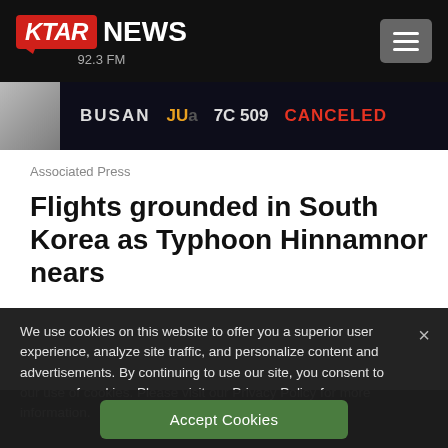KTAR NEWS 92.3 FM
[Figure (screenshot): Flight departure board showing BUSAN flight JU_ 7C 509 CANCELED]
Associated Press
Flights grounded in South Korea as Typhoon Hinnamnor nears
We use cookies on this website to offer you a superior user experience, analyze site traffic, and personalize content and advertisements. By continuing to use our site, you consent to our use of cookies. Please visit our Privacy Policy for more information.
Accept Cookies